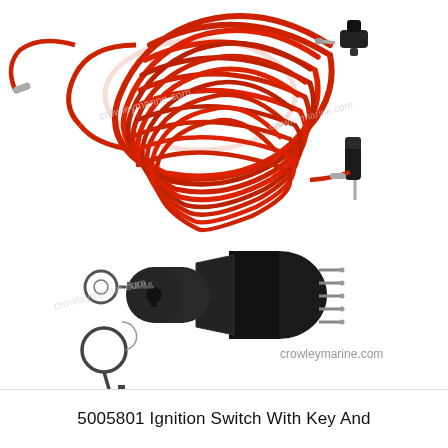[Figure (photo): Product photo showing an ignition switch assembly with key and a red coiled safety lanyard. The top portion shows a red coiled cord/lanyard with a connector clip at one end and a pin/plug at the other end. The bottom portion shows a black cylindrical ignition switch with electrical pins on the rear and two keys (one inserted, one loose on a key ring). The website 'crowleymarine.com' is watermarked on the image.]
5005801 Ignition Switch With Key And